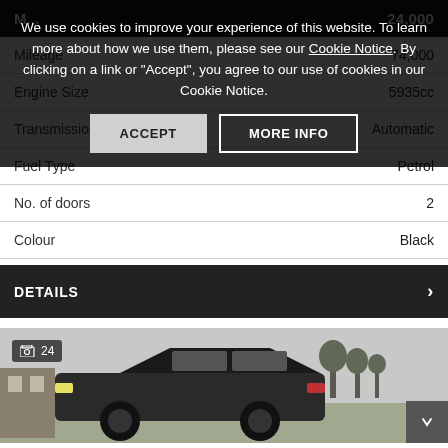M... 24,000
| Feature | Value |
| --- | --- |
| Mileage | 74,000 |
| Engine Size | 5935cc |
| Transmission | Automatic |
| Fuel Type | Petrol |
| No. of doors | 2 |
| Colour | Black |
DETAILS
[Figure (photo): Black SUV/car photographed outdoors in a field with trees in the background. Image count badge showing 24 photos.]